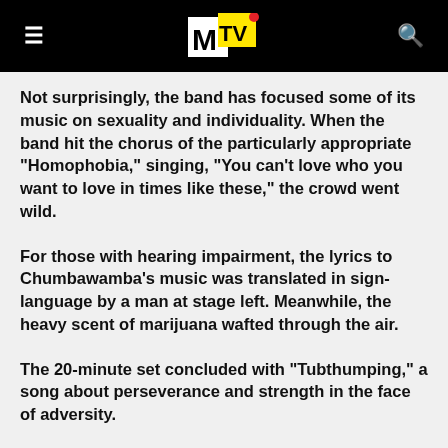MTV
Not surprisingly, the band has focused some of its music on sexuality and individuality. When the band hit the chorus of the particularly appropriate "Homophobia," singing, "You can't love who you want to love in times like these," the crowd went wild.
For those with hearing impairment, the lyrics to Chumbawamba's music was translated in sign-language by a man at stage left. Meanwhile, the heavy scent of marijuana wafted through the air.
The 20-minute set concluded with "Tubthumping," a song about perseverance and strength in the face of adversity.